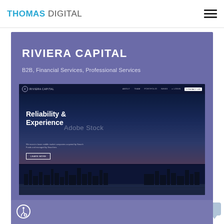THOMAS DIGITAL
RIVIERA CAPITAL
B2B, Financial Services, Professional Services
[Figure (screenshot): Screenshot of Riviera Capital website showing 'Reliability & Experience' hero section with Adobe Stock watermark, dark navy background with city skyline, navigation bar with ABOUT, TEAM, PORTFOLIO, NEWS, e-LOGIN, CONTACT US links, and a LEARN MORE button. Subtext reads: We invest in lower middle market companies acquired by Search Funds and managed by Searchers.]